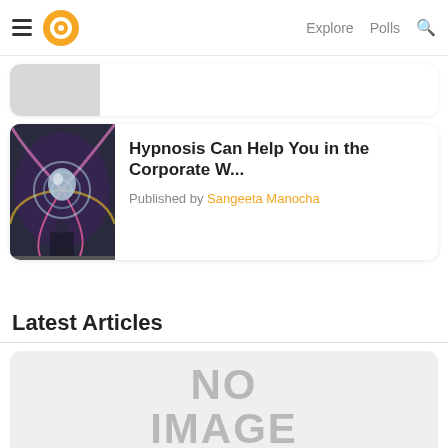Explore  Polls
[Figure (screenshot): Partial article card with grey thumbnail placeholder, partially visible at top]
Hypnosis Can Help You in the Corporate W...
Published by Sangeeta Manocha
Latest Articles
[Figure (photo): No Image placeholder card with grey background and bold grey text reading NO IMAGE, with orange accent bars at bottom corners]